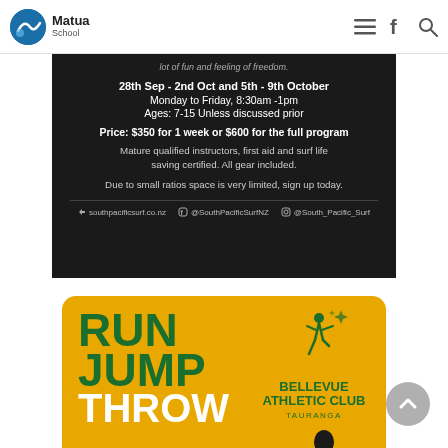Matua School — navigation bar with logo, hamburger menu, Facebook icon, search icon
[Figure (infographic): South Pacific Surf school holiday program flyer on dark background. Text: 'lot of fun and feeling of freedom.' | 28th Sep - 2nd Oct and 5th - 9th October | Monday to Friday, 8:30am -1pm | Ages: 7-15 Unless discussed prior | Price: $350 for 1 week or $600 for the full program | Mature qualified instructors, first aid and surf life saving certified. All gear included. | Due to small ratios space is very limited, sign up today. | southpacificsurf.co.nz | @SouthPacificSurfNZ | @South_Pacific_Surf]
[Figure (infographic): Bellevue Athletic Club Tauranga flyer on yellow/orange background. Large bold green text: RUN JUMP THROW. Bellevue Athletic Club Tauranga logo with stylized runner figure. Silhouette of an athlete at the bottom right.]